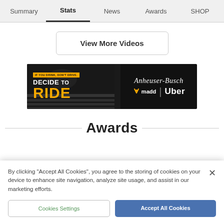Summary | Stats | News | Awards | SHOP
View More Videos
[Figure (infographic): Advertisement banner: 'DECIDE TO RIDE' campaign featuring Anheuser-Busch, MADD, and Uber logos on black background with street crossing imagery.]
Awards
By clicking "Accept All Cookies", you agree to the storing of cookies on your device to enhance site navigation, analyze site usage, and assist in our marketing efforts.
Cookies Settings | Accept All Cookies